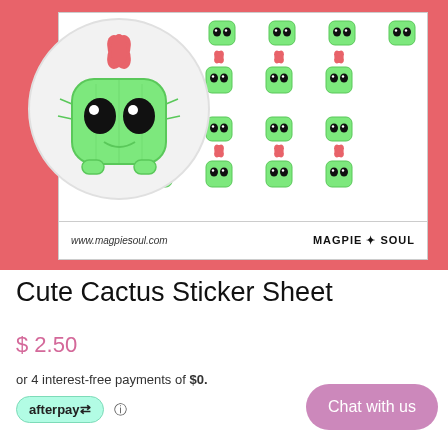[Figure (photo): Product image showing a cute cactus sticker sheet on a coral/salmon pink background. A circular zoom shows a large cute cartoon cactus character with big black eyes and a pink flower on top. The sticker sheet shows multiple rows of small cactus stickers, some with flowers and some without. Sheet footer shows 'www.magpiesoul.com' and 'MAGPIE SOUL' branding.]
Cute Cactus Sticker Sheet
$ 2.50
or 4 interest-free payments of $0.
[Figure (logo): Afterpay logo badge - teal/mint green pill-shaped badge with 'afterpay' text and arrow icon]
Chat with us